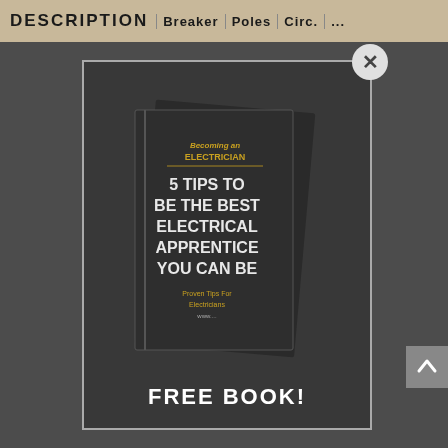[Figure (screenshot): A modal popup overlay on top of a document/table page. The modal shows a book cover for '5 Tips to Be the Best Electrical Apprentice You Can Be' from 'Becoming an Electrician', with the text 'FREE BOOK!' at the bottom. A close (X) button appears in the top-right corner of the modal. The background shows a partially visible table with column headers including DESCRIPTION, BREAKER, POLES, etc.]
FREE BOOK!